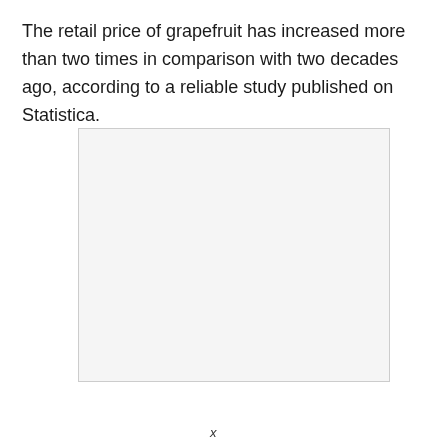The retail price of grapefruit has increased more than two times in comparison with two decades ago, according to a reliable study published on Statistica.
[Figure (other): A blank/empty light gray rectangular placeholder box, likely where a chart or image would be inserted.]